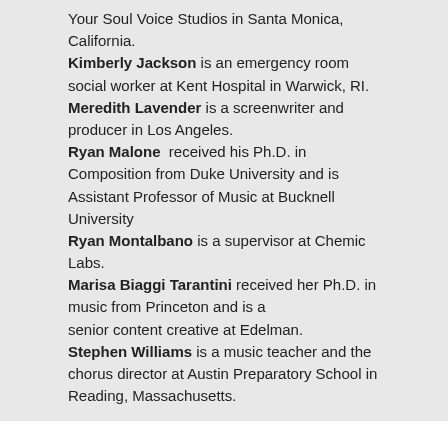Your Soul Voice Studios in Santa Monica, California. Kimberly Jackson is an emergency room social worker at Kent Hospital in Warwick, RI. Meredith Lavender is a screenwriter and producer in Los Angeles. Ryan Malone received his Ph.D. in Composition from Duke University and is Assistant Professor of Music at Bucknell University. Ryan Montalbano is a supervisor at Chemic Labs. Marisa Biaggi Tarantini received her Ph.D. in music from Princeton and is a senior content creative at Edelman. Stephen Williams is a music teacher and the chorus director at Austin Preparatory School in Reading, Massachusetts.
1999
Jaime McAllister-Grande is manager for user services and direct access processing for the Harvard University